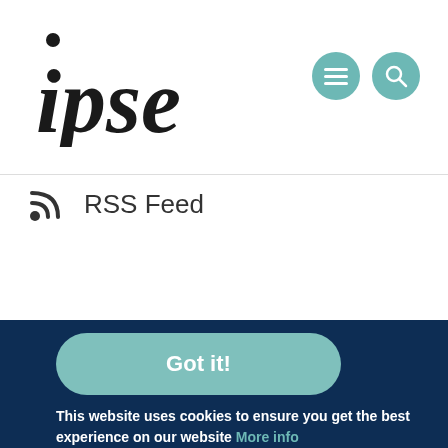[Figure (logo): IPSE organization logo in bold serif font with dot above the 'i']
[Figure (other): Two teal circular navigation icons (menu hamburger and search magnifier) in top right corner]
RSS Feed
Got it!
This website uses cookies to ensure you get the best experience on our website More info